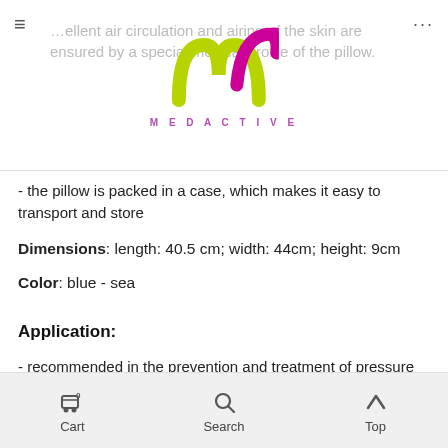…ellent air circulation and airing of the skin are ensured by a special medical profile of the pillow.
- the pillow is packed in a case, which makes it easy to transport and store
Dimensions: length: 40.5 cm; width: 44cm; height: 9cm
Color: blue - sea
Application:
- recommended in the prevention and treatment of pressure ulcers
- improves the comfort of sitting for women during the puerperium
Cart  Search  Top